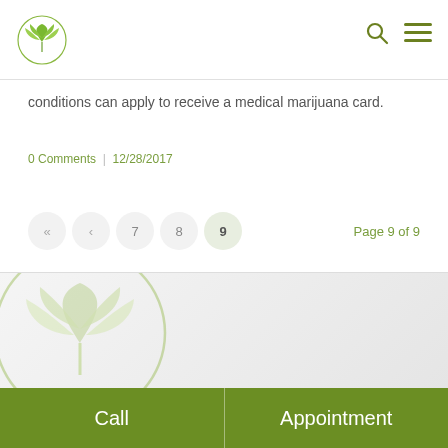[Figure (logo): Green cannabis/plant leaf logo inside a circle, top left]
[Figure (other): Search icon (magnifying glass) and hamburger menu icon, top right, olive green color]
conditions can apply to receive a medical marijuana card.
0 Comments   |   12/28/2017
«  ‹  7  8  9   Page 9 of 9
[Figure (logo): Large faded green cannabis/plant leaf logo in circle, footer background]
Call
Appointment